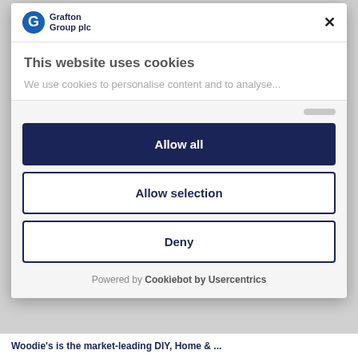[Figure (logo): Grafton Group plc logo with blue G icon]
This website uses cookies
We use cookies to personalise content and to analyse...
Allow all
Allow selection
Deny
Powered by Cookiebot by Usercentrics
Woodie's is the market-leading DIY, Home & ...